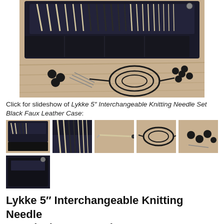[Figure (photo): Main product photo of Lykke 5-inch Interchangeable Knitting Needle Set in Black Faux Leather Case, open on a wooden surface showing needle tips in the case and cables/end caps scattered below.]
Click for slideshow of Lykke 5" Interchangeable Knitting Needle Set Black Faux Leather Case:
[Figure (photo): Thumbnail 1: Side view of closed black faux leather case]
[Figure (photo): Thumbnail 2: Close-up of needle tips in case]
[Figure (photo): Thumbnail 3: Single knitting needle with cable attached]
[Figure (photo): Thumbnail 4: Coiled cable/cord on wooden surface]
[Figure (photo): Thumbnail 5: Small end caps and accessories]
[Figure (photo): Thumbnail 6 (bottom left): Closed black faux leather case]
Lykke 5" Interchangeable Knitting Needle Set Black Faux Leather Case